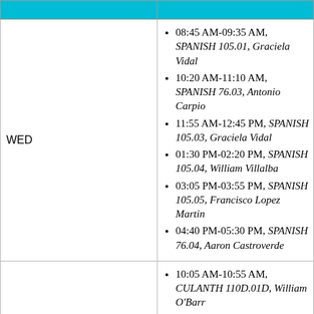| Day | Schedule |
| --- | --- |
| WED | 08:45 AM-09:35 AM, SPANISH 105.01, Graciela Vidal
10:20 AM-11:10 AM, SPANISH 76.03, Antonio Carpio
11:55 AM-12:45 PM, SPANISH 105.03, Graciela Vidal
01:30 PM-02:20 PM, SPANISH 105.04, William Villalba
03:05 PM-03:55 PM, SPANISH 105.05, Francisco Lopez Martin
04:40 PM-05:30 PM, SPANISH 76.04, Aaron Castroverde |
| THURS | 10:05 AM-10:55 AM, CULANTH 110D.01D, William O'Barr
11:40 AM-12:30 PM, JPN 2.02D, Naoko Kurokawa
01:15 PM-02:30 PM, AAAS 145B.01, Raymond Gavins
02:50 PM-04:05 PM, SPANISH 104.01, Melissa Simmermeyer
04:35 PM-05:40 PM, WRITING... |